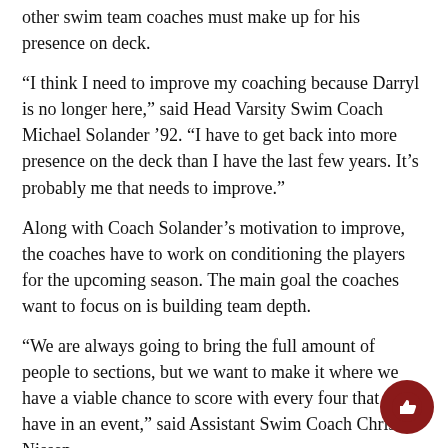other swim team coaches must make up for his presence on deck.
“I think I need to improve my coaching because Darryl is no longer here,” said Head Varsity Swim Coach Michael Solander ’92. “I have to get back into more presence on the deck than I have the last few years. It’s probably me that needs to improve.”
Along with Coach Solander’s motivation to improve, the coaches have to work on conditioning the players for the upcoming season. The main goal the coaches want to focus on is building team depth.
“We are always going to bring the full amount of people to sections, but we want to make it where we have a viable chance to score with every four that we have in an event,” said Assistant Swim Coach Chris Nissen.
Of course, along with the new ambitions of the coaches this year, swimmers must also challenge themselves to be better.
“I’m trying to better my diet. I’m trying to just make sure that I’m stretching out so I’m becoming a better swimmer,” said swimmer…